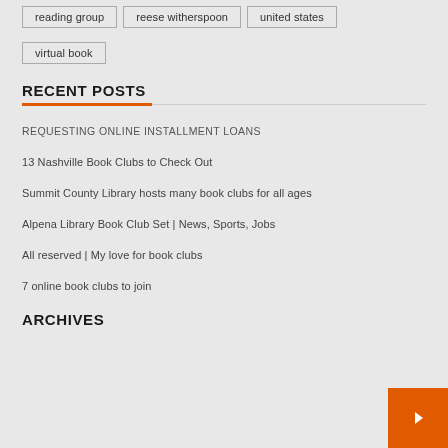reading group
reese witherspoon
united states
virtual book
RECENT POSTS
REQUESTING ONLINE INSTALLMENT LOANS
13 Nashville Book Clubs to Check Out
Summit County Library hosts many book clubs for all ages
Alpena Library Book Club Set | News, Sports, Jobs
All reserved | My love for book clubs
7 online book clubs to join
ARCHIVES